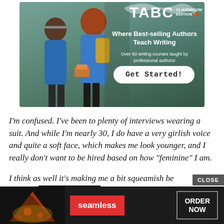[Figure (illustration): TABC Classroom Edition advertisement banner showing two children in blue shirts with backpacks, with text 'Where Best-selling Authors Teach Writing' and 'Over 60 writing courses taught by professional authors!' and a 'Get Started!' button.]
I'm confused. I've been to plenty of interviews wearing a suit. And while I'm nearly 30, I do have a very girlish voice and quite a soft face, which makes me look younger, and I really don't want to be hired based on how "feminine" I am.
I think as well it's making me a bit squeamish because I couldn't [text obscured by ad] were a man. "[text obscured] dn't
[Figure (screenshot): Seamless food delivery advertisement overlay with pizza image, Seamless logo, CLOSE button, and ORDER NOW button.]